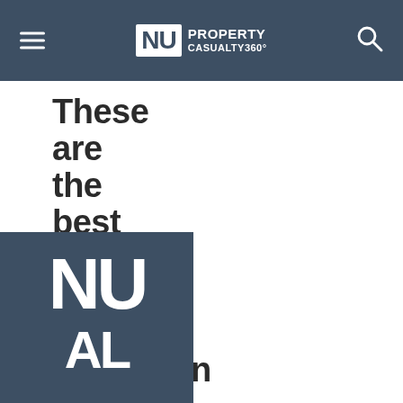NU PROPERTY CASUALTY360°
These are the best global cities for relocation
[Figure (logo): NU Property Casualty360 logo partial view at bottom left — dark blue/slate background with white 'NU' and 'AL' text visible]